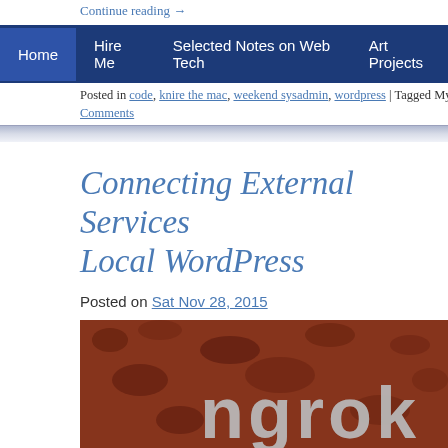Continue reading →
Home | Hire Me | Selected Notes on Web Tech | Art Projects
Posted in code, knire the mac, weekend sysadmin, wordpress | Tagged My Comments
Connecting External Services Local WordPress
Posted on Sat Nov 28, 2015
[Figure (photo): Featured image with text 'ngrok' on a dark red textured background]